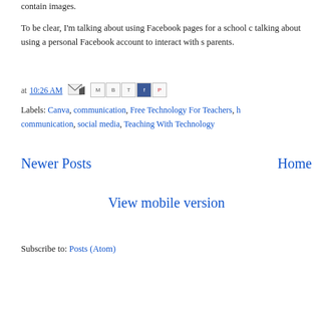contain images.
To be clear, I'm talking about using Facebook pages for a school or talking about using a personal Facebook account to interact with a parents.
at 10:26 AM
Labels: Canva, communication, Free Technology For Teachers, h communication, social media, Teaching With Technology
Newer Posts
Home
View mobile version
Subscribe to: Posts (Atom)